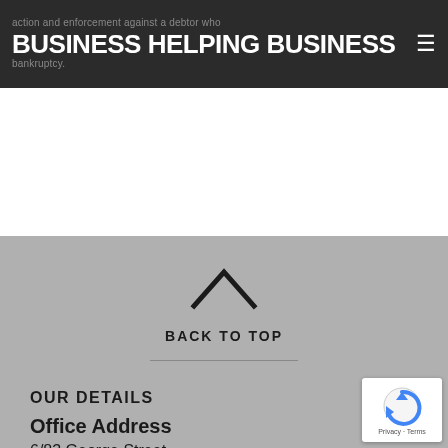action and enforcement against a debtor who BUSINESS HELPING BUSINESS bankruptcy.
BACK TO TOP
OUR DETAILS
Office Address
6/83 George Street